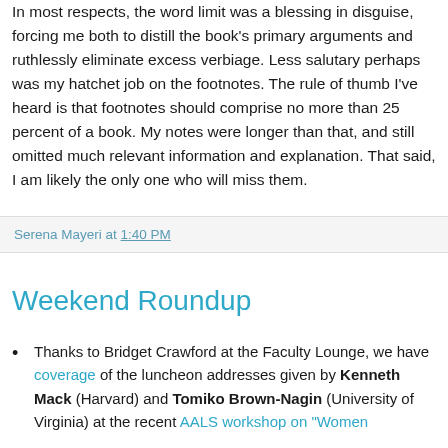In most respects, the word limit was a blessing in disguise, forcing me both to distill the book's primary arguments and ruthlessly eliminate excess verbiage. Less salutary perhaps was my hatchet job on the footnotes. The rule of thumb I've heard is that footnotes should comprise no more than 25 percent of a book. My notes were longer than that, and still omitted much relevant information and explanation. That said, I am likely the only one who will miss them.
Serena Mayeri at 1:40 PM
Weekend Roundup
Thanks to Bridget Crawford at the Faculty Lounge, we have coverage of the luncheon addresses given by Kenneth Mack (Harvard) and Tomiko Brown-Nagin (University of Virginia) at the recent AALS workshop on "Women...